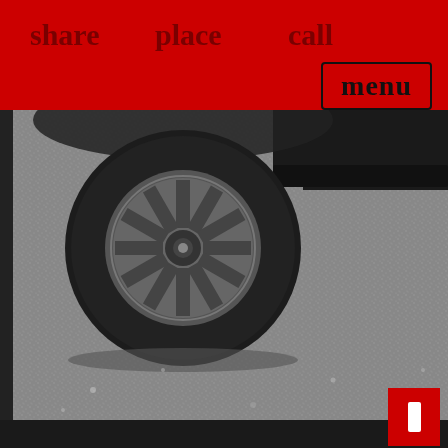share   place   call
menu
[Figure (photo): A close-up photo of a dark car's wheel/tire on asphalt pavement. The alloy wheel with multi-spoke design is visible in the upper portion, and the lower portion shows a large expanse of grey asphalt road surface with light glinting off it.]
[Figure (other): Red button/icon box with a white rectangular icon in the lower right corner of the page]